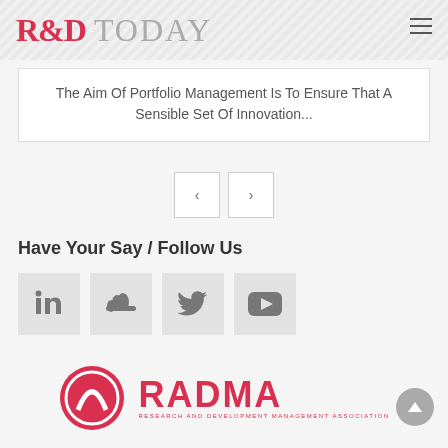R&D TODAY
The Aim Of Portfolio Management Is To Ensure That A Sensible Set Of Innovation...
Have Your Say / Follow Us
[Figure (logo): Social media icons: LinkedIn, SoundCloud, Twitter, YouTube]
[Figure (logo): RADMA - Research and Development Management Association logo]